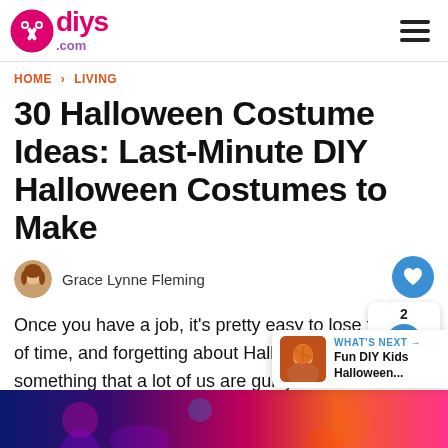diys.com
HOME > LIVING
30 Halloween Costume Ideas: Last-Minute DIY Halloween Costumes to Make
Grace Lynne Fleming
Once you have a job, it's pretty easy to lose track of time, and forgetting about Halloween night is something that a lot of us are guilty of
[Figure (photo): Dark colorful Halloween themed image at bottom of page]
WHAT'S NEXT → Fun DIY Kids Halloween...